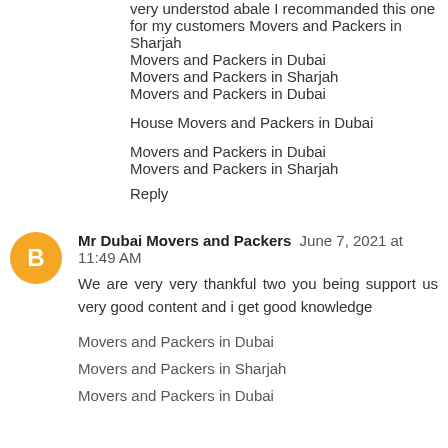very understod abale I recommanded this one for my customers Movers and Packers in Sharjah
Movers and Packers in Dubai
Movers and Packers in Sharjah
Movers and Packers in Dubai
House Movers and Packers in Dubai
Movers and Packers in Dubai
Movers and Packers in Sharjah
Reply
Mr Dubai Movers and Packers  June 7, 2021 at 11:49 AM
We are very very thankful two you being support us very good content and i get good knowledge
Movers and Packers in Dubai
Movers and Packers in Sharjah
Movers and Packers in Dubai